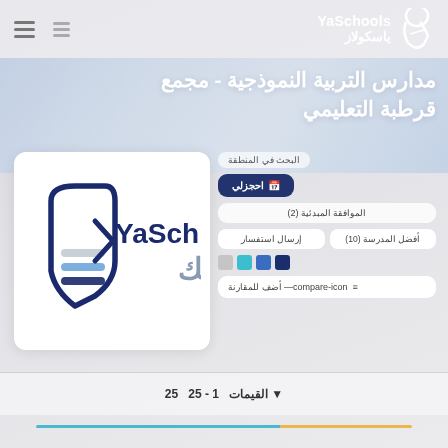YaSchools ياسكولاز
مدارس التربية النموذجية - مجمع قرطبة التعليمي
[Figure (logo): YaSchools logo: stylized pencil/quill icon with blue stripes and 'YaSch / ياسك' text]
البحث في المنطقة
احجزلي
الموافقة المبدئية (2)
أفضل المدرسة (10)
إرسال استفسار
compare-icon— أضف للمقارنة
▼ القيمات 1 - 25 25